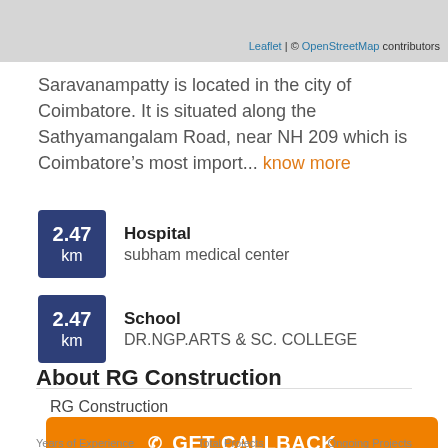[Figure (map): Map screenshot showing a grey area (partial map view). Attribution: Leaflet | © OpenStreetMap contributors]
Leaflet | © OpenStreetMap contributors
Saravanampatty is located in the city of Coimbatore. It is situated along the Sathyamangalam Road, near NH 209 which is Coimbatore's most import... know more
2.47 km — Hospital — subham medical center
2.47 km — School — DR.NGP.ARTS & SC. COLLEGE
About RG Construction
RG Construction
GET CALLBACK
Years of Experience    Total Projects    Ongoing Projects